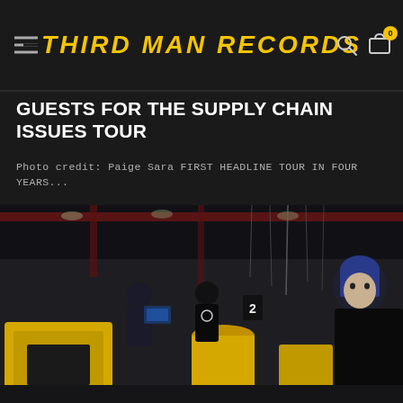THIRD MAN RECORDS
GUESTS FOR THE SUPPLY CHAIN ISSUES TOUR
Photo credit: Paige Sara FIRST HEADLINE TOUR IN FOUR YEARS...
[Figure (photo): Industrial factory or warehouse setting with yellow equipment, machinery, and people working. A man with blue hair in black clothing stands on the right. Yellow bins and carts visible. Overhead cables and equipment. Third Man Records logo visible on yellow box.]